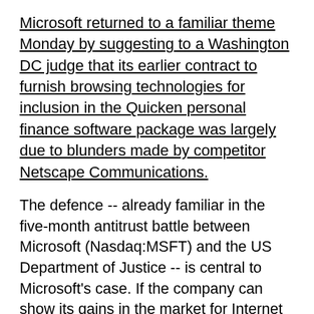Microsoft returned to a familiar theme Monday by suggesting to a Washington DC judge that its earlier contract to furnish browsing technologies for inclusion in the Quicken personal finance software package was largely due to blunders made by competitor Netscape Communications.
The defence -- already familiar in the five-month antitrust battle between Microsoft (Nasdaq:MSFT) and the US Department of Justice -- is central to Microsoft's case. If the company can show its gains in the market for Internet browsers are due to fair competition and not abuse of its monopoly position in operating systems, the antitrust case built around it by the US Justice Department and